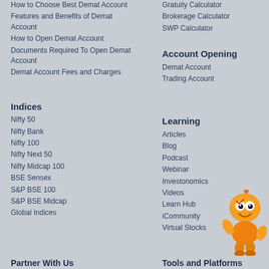How to Choose Best Demat Account
Features and Benefits of Demat Account
How to Open Demat Account
Documents Required To Open Demat Account
Demat Account Fees and Charges
Gratuity Calculator
Brokerage Calculator
SWP Calculator
Account Opening
Demat Account
Trading Account
Indices
Nifty 50
Nifty Bank
Nifty 100
Nifty Next 50
Nifty Midcap 100
BSE Sensex
S&P BSE 100
S&P BSE Midcap
Global Indices
Learning
Articles
Blog
Podcast
Webinar
Investonomics
Videos
Learn Hub
iCommunity
Virtual Stocks
[Figure (illustration): Orange robot mascot character giving a thumbs up gesture]
Partner With Us
Tools and Platforms